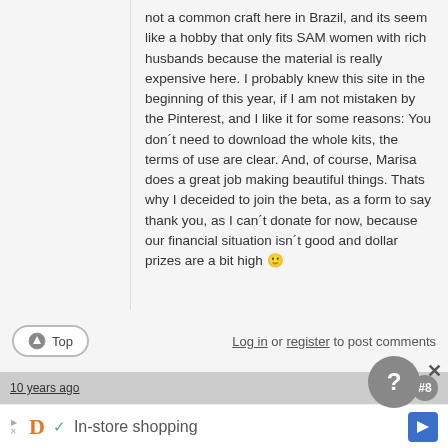not a common craft here in Brazil, and its seem like a hobby that only fits SAM women with rich husbands because the material is really expensive here. I probably knew this site in the beginning of this year, if I am not mistaken by the Pinterest, and I like it for some reasons: You don´t need to download the whole kits, the terms of use are clear. And, of course, Marisa does a great job making beautiful things. Thats why I deceided to join the beta, as a form to say thank you, as I can´t donate for now, because our financial situation isn´t good and dollar prizes are a bit high 🙂
Log in or register to post comments
10 years ago
#8
Wow! It's so great to meet you all! Thanks
In-store shopping